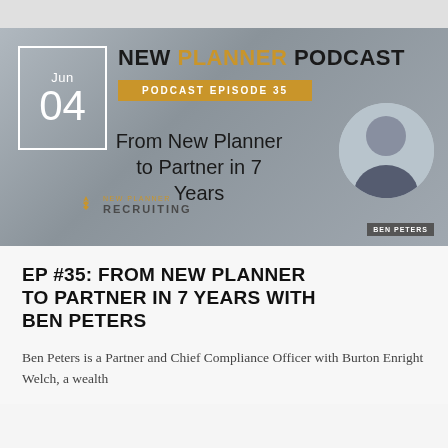[Figure (screenshot): New Planner Podcast banner image for Episode 35: From New Planner to Partner in 7 Years, featuring Ben Peters. Shows a date box with Jun 04, podcast title, episode badge, episode headline, New Planner Recruiting logo, and a circular headshot of Ben Peters.]
EP #35: FROM NEW PLANNER TO PARTNER IN 7 YEARS WITH BEN PETERS
Ben Peters is a Partner and Chief Compliance Officer with Burton Enright Welch, a wealth